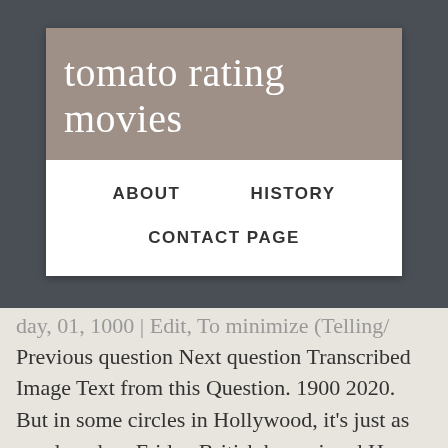tomato rating movies
ABOUT   HISTORY   CONTACT PAGE
...day, 01, 1000 | Edit, To minimize (Telling/ Previous question Next question Transcribed Image Text from this Question. 1900 2020. But in some circles in Hollywood, it's just as good, and on Friday British boy wizard Harry Potter pulled one out of his sorcerer's hat -- a Golden Tomato. Granted, I'm a phan, so this was right